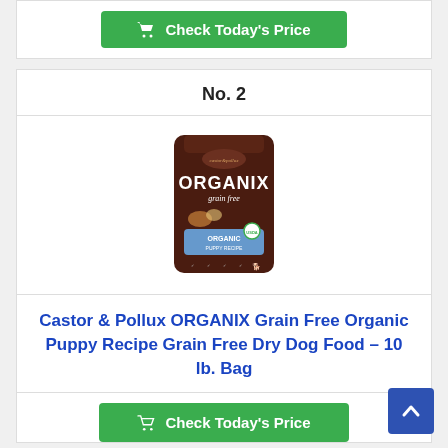Check Today's Price
No. 2
[Figure (photo): Castor & Pollux ORGANIX Grain Free Organic Puppy Recipe dog food bag, dark brown packaging with brand logo and blue label area]
Castor & Pollux ORGANIX Grain Free Organic Puppy Recipe Grain Free Dry Dog Food - 10 lb. Bag
Check Today's Price